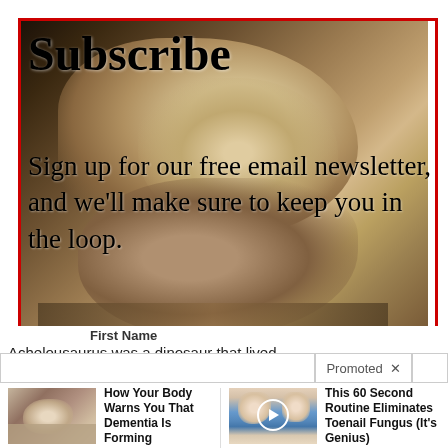[Figure (photo): Dinosaur fossil skull on display table, partially overlaid with newsletter subscribe popup]
Subscribe
Sign up for our free email newsletter, and we'll make sure to keep you in the loop.
First Name
Achelousaurus was a dinosaur that lived ab
Promoted ×
[Figure (photo): Elderly person sitting on bed, illustrating dementia article]
How Your Body Warns You That Dementia Is Forming
🔥 43,236
[Figure (photo): Person's feet with blue socks/slippers and a play button overlay, illustrating toenail fungus article]
This 60 Second Routine Eliminates Toenail Fungus (It's Genius)
🔥 1,982